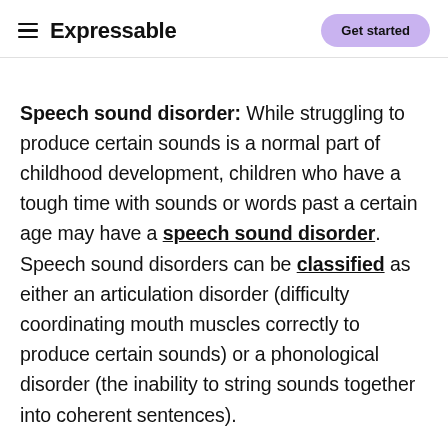Expressable | Get started
Speech sound disorder: While struggling to produce certain sounds is a normal part of childhood development, children who have a tough time with sounds or words past a certain age may have a speech sound disorder. Speech sound disorders can be classified as either an articulation disorder (difficulty coordinating mouth muscles correctly to produce certain sounds) or a phonological disorder (the inability to string sounds together into coherent sentences).